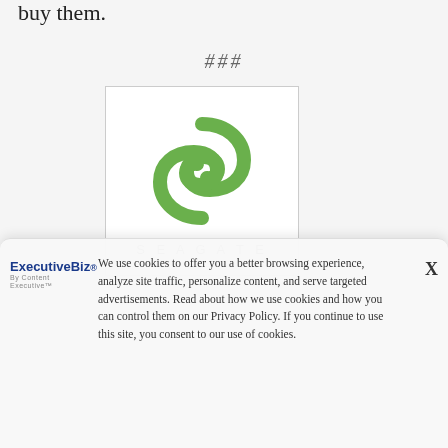buy them.
###
[Figure (logo): Seagate logo — green spiral S symbol above the word SEAGATE in light gray spaced letters, inside a white box with border]
We use cookies to offer you a better browsing experience, analyze site traffic, personalize content, and serve targeted advertisements. Read about how we use cookies and how you can control them on our Privacy Policy. If you continue to use this site, you consent to our use of cookies.